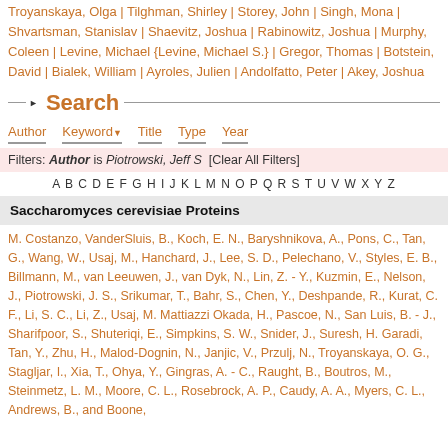Troyanskaya, Olga | Tilghman, Shirley | Storey, John | Singh, Mona | Shvartsman, Stanislav | Shaevitz, Joshua | Rabinowitz, Joshua | Murphy, Coleen | Levine, Michael {Levine, Michael S.} | Gregor, Thomas | Botstein, David | Bialek, William | Ayroles, Julien | Andolfatto, Peter | Akey, Joshua
Search
Author | Keyword | Title | Type | Year
Filters: Author is Piotrowski, Jeff S [Clear All Filters]
A B C D E F G H I J K L M N O P Q R S T U V W X Y Z
Saccharomyces cerevisiae Proteins
M. Costanzo, VanderSluis, B., Koch, E. N., Baryshnikova, A., Pons, C., Tan, G., Wang, W., Usaj, M., Hanchard, J., Lee, S. D., Pelechano, V., Styles, E. B., Billmann, M., van Leeuwen, J., van Dyk, N., Lin, Z. - Y., Kuzmin, E., Nelson, J., Piotrowski, J. S., Srikumar, T., Bahr, S., Chen, Y., Deshpande, R., Kurat, C. F., Li, S. C., Li, Z., Usaj, M. Mattiazzi Okada, H., Pascoe, N., San Luis, B. - J., Sharifpoor, S., Shuteriqi, E., Simpkins, S. W., Snider, J., Suresh, H. Garadi, Tan, Y., Zhu, H., Malod-Dognin, N., Janjic, V., Przulj, N., Troyanskaya, O. G., Stagljar, I., Xia, T., Ohya, Y., Gingras, A. - C., Raught, B., Boutros, M., Steinmetz, L. M., Moore, C. L., Rosebrock, A. P., Caudy, A. A., Myers, C. L., Andrews, B., and Boone,